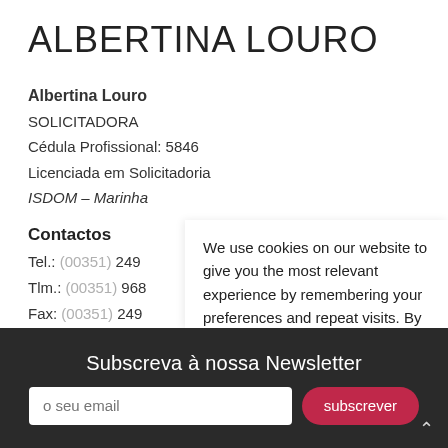ALBERTINA LOURO
Albertina Louro
SOLICITADORA
Cédula Profissional: 5846
Licenciada em Solicitadoria
ISDOM – Marinha
Contactos
Tel.: (00351) 249
Tlm.: (00351) 968
Fax: (00351) 249
albertina.louro@s
We use cookies on our website to give you the most relevant experience by remembering your preferences and repeat visits. By clicking "Accept All", you consent to the use of ALL the cookies. However, you may visit "Cookie Settings" to provide a controlled consent.
Subscreva à nossa Newsletter
o seu email
subscrever